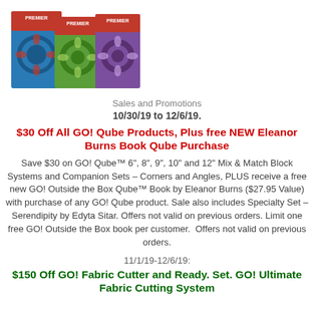[Figure (photo): Three colorful product boxes for GO! Qube quilting systems, shown in blue, green, and purple, arranged side by side]
Sales and Promotions
10/30/19 to 12/6/19.
$30 Off All GO! Qube Products, Plus free NEW Eleanor Burns Book Qube Purchase
Save $30 on GO! Qube™ 6", 8", 9", 10" and 12" Mix & Match Block Systems and Companion Sets – Corners and Angles, PLUS receive a free new GO! Outside the Box Qube™ Book by Eleanor Burns ($27.95 Value) with purchase of any GO! Qube product. Sale also includes Specialty Set – Serendipity by Edyta Sitar. Offers not valid on previous orders. Limit one free GO! Outside the Box book per customer.  Offers not valid on previous orders.
11/1/19-12/6/19:
$150 Off GO! Fabric Cutter and Ready. Set. GO! Ultimate Fabric Cutting System